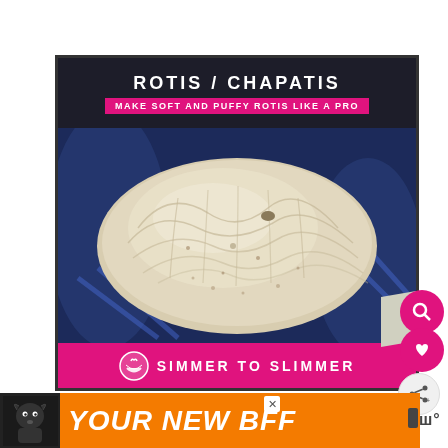[Figure (screenshot): Video thumbnail showing a puffed roti/chapati on a stove flame with dark blue background. Top overlay text reads ROTIS / CHAPATIS with subtitle MAKE SOFT AND PUFFY ROTIS LIKE A PRO on a pink banner. Bottom pink bar reads SIMMER TO SLIMMER with a bowl icon.]
How to make soft rotis or
[Figure (infographic): Orange advertisement banner at the bottom showing a dog silhouette on the left and the text YOUR NEW BFF in white bold italic letters on orange background. A close X button appears top right of the banner. An Alexa/speaker icon appears to the far right.]